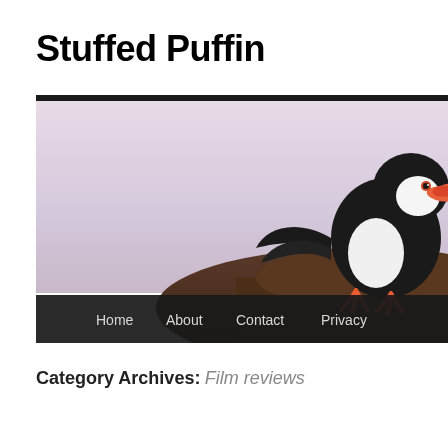Stuffed Puffin
[Figure (photo): A puffin bird with black and white plumage and an orange-red beak perched on a rocky surface against a light purple/lavender sky background, with a dark navigation bar at the bottom showing Home, About, Contact, Privacy links]
Category Archives: Film reviews